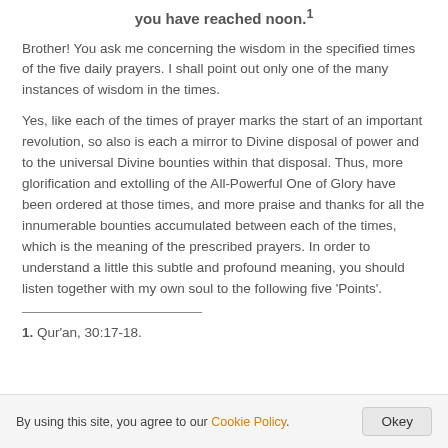you have reached noon.1
Brother! You ask me concerning the wisdom in the specified times of the five daily prayers. I shall point out only one of the many instances of wisdom in the times.
Yes, like each of the times of prayer marks the start of an important revolution, so also is each a mirror to Divine disposal of power and to the universal Divine bounties within that disposal. Thus, more glorification and extolling of the All-Powerful One of Glory have been ordered at those times, and more praise and thanks for all the innumerable bounties accumulated between each of the times, which is the meaning of the prescribed prayers. In order to understand a little this subtle and profound meaning, you should listen together with my own soul to the following five 'Points'.
1. Qur'an, 30:17-18.
By using this site, you agree to our Cookie Policy. Okey